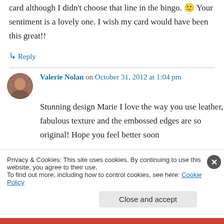card although I didn't choose that line in the bingo. 🙂 Your sentiment is a lovely one. I wish my card would have been this great!!
↳ Reply
Valerie Nolan on October 31, 2012 at 1:04 pm
Stunning design Marie I love the way you use leather, fabulous texture and the embossed edges are so original! Hope you feel better soon
Privacy & Cookies: This site uses cookies. By continuing to use this website, you agree to their use. To find out more, including how to control cookies, see here: Cookie Policy
Close and accept